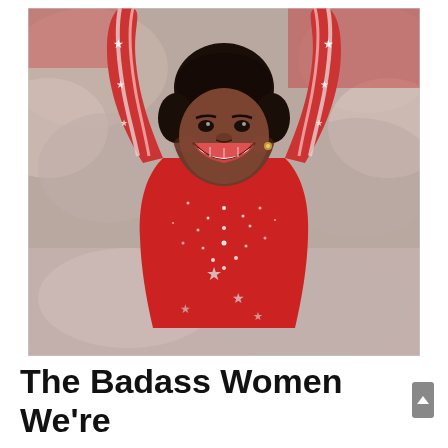[Figure (photo): A gymnast (Simone Biles) with arms raised above her head, smiling broadly, wearing a red bedazzled long-sleeve leotard with star and stripe designs and rhinestone details. The background shows a blurred crowd.]
The Badass Women We're